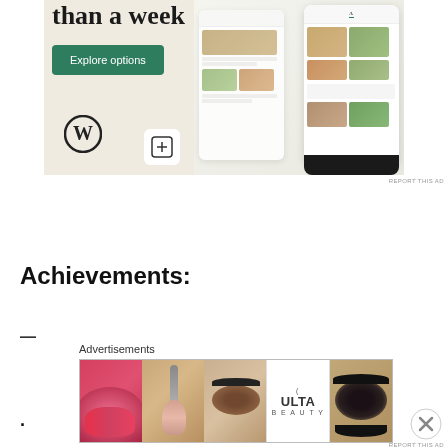[Figure (screenshot): WordPress/website builder advertisement showing 'than a week' headline, 'Explore options' button on beige background, WordPress logo, Squarespace-style icon, and phone mockup showing food delivery app]
REPORT THIS AD
Achievements:
—
·
[Figure (screenshot): Ulta Beauty advertisement showing lips, makeup brushes, eye with mascara, Ulta logo, eye with liner, and SHOP NOW text]
Advertisements
REPORT THIS AD